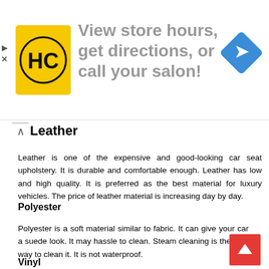[Figure (infographic): Advertisement banner: HC logo on yellow background, text 'View store hours, get directions, or call your salon!', blue navigation diamond icon on right]
Leather
Leather is one of the expensive and good-looking car seat upholstery. It is durable and comfortable enough. Leather has low and high quality. It is preferred as the best material for luxury vehicles. The price of leather material is increasing day by day.
Polyester
Polyester is a soft material similar to fabric. It can give your car a suede look. It may hassle to clean. Steam cleaning is the best way to clean it. It is not waterproof.
Vinyl